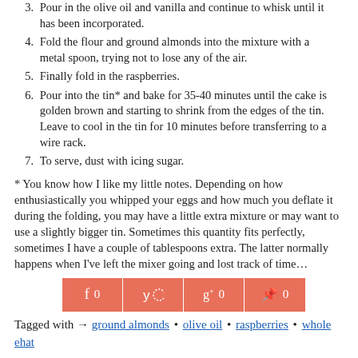3. Pour in the olive oil and vanilla and continue to whisk until it has been incorporated.
4. Fold the flour and ground almonds into the mixture with a metal spoon, trying not to lose any of the air.
5. Finally fold in the raspberries.
6. Pour into the tin* and bake for 35-40 minutes until the cake is golden brown and starting to shrink from the edges of the tin. Leave to cool in the tin for 10 minutes before transferring to a wire rack.
7. To serve, dust with icing sugar.
* You know how I like my little notes. Depending on how enthusiastically you whipped your eggs and how much you deflate it during the folding, you may have a little extra mixture or may want to use a slightly bigger tin. Sometimes this quantity fits perfectly, sometimes I have a couple of tablespoons extra. The latter normally happens when I’ve left the mixer going and lost track of time…
[Figure (other): Social sharing buttons for Facebook (0), Twitter (loading), Google+ (0), Pinterest (0) in salmon/coral color]
Tagged with → ground almonds • olive oil • raspberries • whole ehat